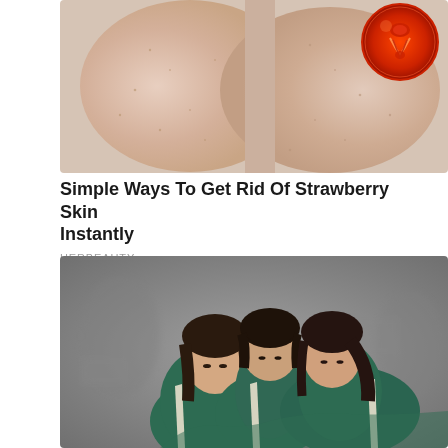[Figure (photo): Close-up photo of legs with strawberry skin (keratosis pilaris), with a medical illustration inset in top right corner showing a cross-section of a hair follicle]
Simple Ways To Get Rid Of Strawberry Skin Instantly
HERBEAUTY
[Figure (photo): Three young Asian women in green and white track jackets huddled together looking downward, with a blurred grey background showing other people]